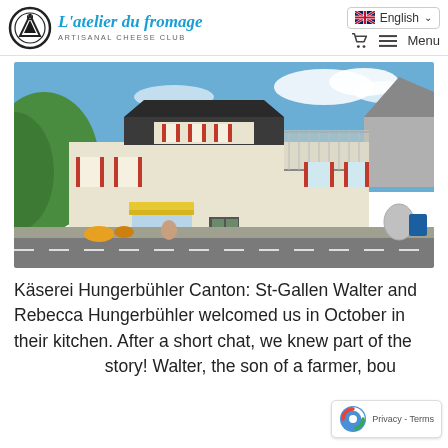L'atelier du fromage — ARTISANAL CHEESE CLUB | English | Menu
[Figure (photo): Exterior photo of Käserei Hungerbühler, a two-story cream-colored building with red shutters, a yellow awning, balcony with railing, set against a blue sky with trees in background and a road in foreground.]
Käserei Hungerbühler Canton: St-Gallen Walter and Rebecca Hungerbühler welcomed us in October in their kitchen. After a short chat, we knew part of the story! Walter, the son of a farmer, bou... this cheese factory in Oberried 12...